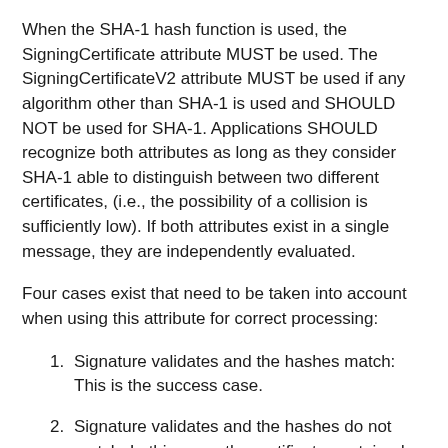When the SHA-1 hash function is used, the SigningCertificate attribute MUST be used. The SigningCertificateV2 attribute MUST be used if any algorithm other than SHA-1 is used and SHOULD NOT be used for SHA-1. Applications SHOULD recognize both attributes as long as they consider SHA-1 able to distinguish between two different certificates, (i.e., the possibility of a collision is sufficiently low). If both attributes exist in a single message, they are independently evaluated.
Four cases exist that need to be taken into account when using this attribute for correct processing:
1. Signature validates and the hashes match: This is the success case.
2. Signature validates and the hashes do not match: In this case, the certificate contained the correct public key, but the certificate containing the public key is not the one that was intended to be used in the signature.